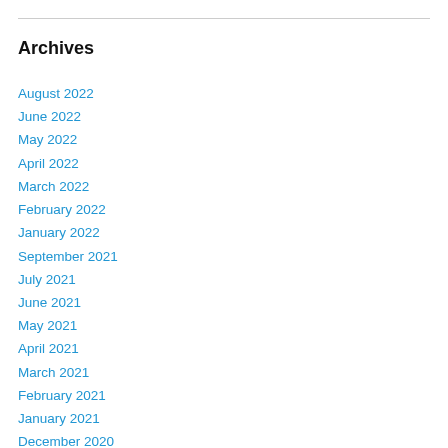Archives
August 2022
June 2022
May 2022
April 2022
March 2022
February 2022
January 2022
September 2021
July 2021
June 2021
May 2021
April 2021
March 2021
February 2021
January 2021
December 2020